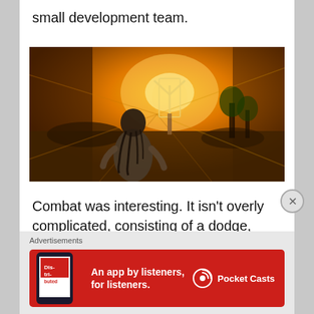small development team.
[Figure (screenshot): Video game screenshot showing a warrior character from behind walking toward a glowing rune symbol in a dramatic sunset landscape with blurred motion effect]
Combat was interesting. It isn't overly complicated, consisting of a dodge, block, heavy strike and quick
Advertisements
[Figure (infographic): Pocket Casts advertisement banner — red background with text 'An app by listeners, for listeners.' and Pocket Casts logo, with a phone graphic showing 'Dis-tri-buted']